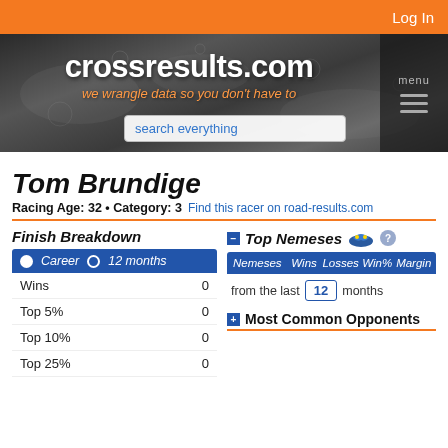Log In
[Figure (screenshot): crossresults.com website banner with logo, tagline 'we wrangle data so you don't have to', search box, and hamburger menu]
Tom Brundige
Racing Age: 32 • Category: 3   Find this racer on road-results.com
Finish Breakdown
● Career  ○ 12 months
|  |  |
| --- | --- |
| Wins | 0 |
| Top 5% | 0 |
| Top 10% | 0 |
| Top 25% | 0 |
Top Nemeses
| Nemeses | Wins | Losses | Win% | Margin |
| --- | --- | --- | --- | --- |
from the last 12 months
Most Common Opponents